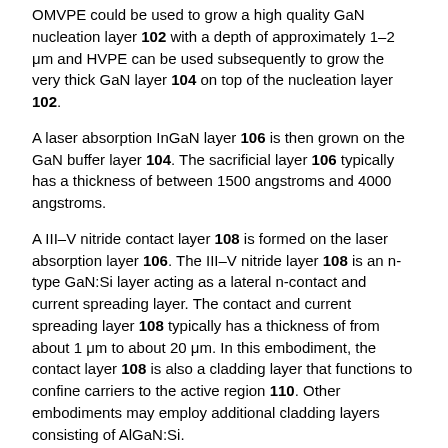OMVPE could be used to grow a high quality GaN nucleation layer 102 with a depth of approximately 1–2 μm and HVPE can be used subsequently to grow the very thick GaN layer 104 on top of the nucleation layer 102.
A laser absorption InGaN layer 106 is then grown on the GaN buffer layer 104. The sacrificial layer 106 typically has a thickness of between 1500 angstroms and 4000 angstroms.
A III–V nitride contact layer 108 is formed on the laser absorption layer 106. The III–V nitride layer 108 is an n-type GaN:Si layer acting as a lateral n-contact and current spreading layer. The contact and current spreading layer 108 typically has a thickness of from about 1 μm to about 20 μm. In this embodiment, the contact layer 108 is also a cladding layer that functions to confine carriers to the active region 110. Other embodiments may employ additional cladding layers consisting of AlGaN:Si.
On top of the III–V nitride cladding layer 108, a III–V nitride quantum well active region 110 is formed. The quantum well active region 110 is comprised of at least one InGaN